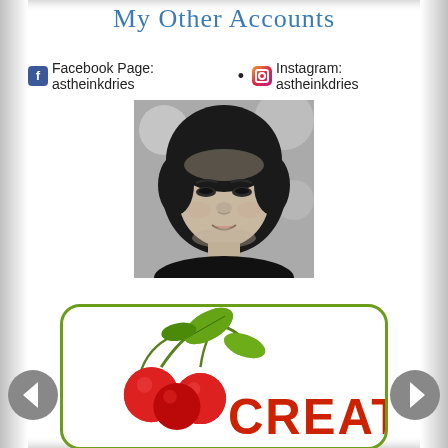My Other Accounts
Facebook Page: astheinkdries • Instagram: astheinkdries
[Figure (photo): Black and white portrait photo of an Asian woman with short dark hair, smiling slightly]
[Figure (logo): Cherry-themed logo with red cherries and green leaves above the word CREATE in red bold text, inside a rounded green border]
[Figure (other): Left navigation arrow button (grey circle with white left arrow)]
[Figure (other): Right navigation arrow button (grey circle with white right arrow)]